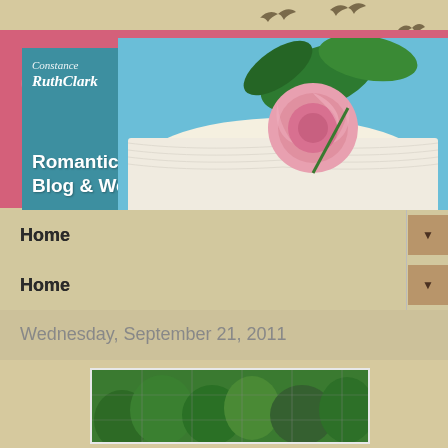[Figure (illustration): Blog header banner with teal/blue background showing cursive text 'Constance Ruth Clark' with hearts design and bold white text 'Romantic Sparks Blog & Website', alongside a photo of an open book with a pink rose on top, set against a pink/rose-colored outer frame. Background is beige/tan with silhouettes of flying birds.]
Home
Home
Wednesday, September 21, 2011
[Figure (photo): Partial photo showing green garden plants/vines, appears to be taken outdoors with a fence visible in the background.]